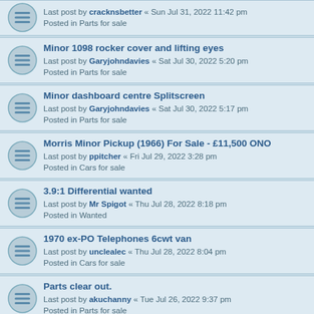Last post by cracknsbetter « Sun Jul 31, 2022 11:42 pm
Posted in Parts for sale
Minor 1098 rocker cover and lifting eyes
Last post by Garyjohndavies « Sat Jul 30, 2022 5:20 pm
Posted in Parts for sale
Minor dashboard centre Splitscreen
Last post by Garyjohndavies « Sat Jul 30, 2022 5:17 pm
Posted in Parts for sale
Morris Minor Pickup (1966) For Sale - £11,500 ONO
Last post by ppitcher « Fri Jul 29, 2022 3:28 pm
Posted in Cars for sale
3.9:1 Differential wanted
Last post by Mr Spigot « Thu Jul 28, 2022 8:18 pm
Posted in Wanted
1970 ex-PO Telephones 6cwt van
Last post by unclealec « Thu Jul 28, 2022 8:04 pm
Posted in Cars for sale
Parts clear out.
Last post by akuchanny « Tue Jul 26, 2022 9:37 pm
Posted in Parts for sale
Passenger side rear lamp cluster - late type
Last post by moggiegeek « Tue Jul 26, 2022 8:53 pm
Posted in Wanted
Headliner
Last post by eveline « Tue Jul 26, 2022 10:22 am
Posted in General Discussion